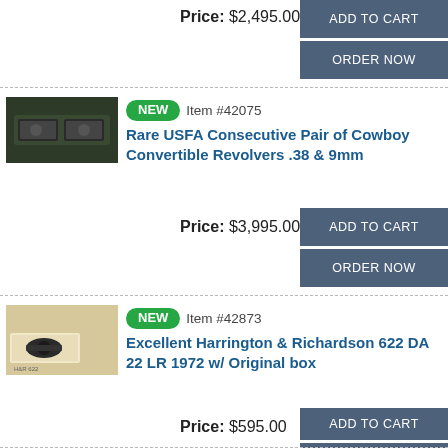Price: $2,495.00
ADD TO CART
ORDER NOW
[Figure (photo): Product image of USFA Consecutive Pair of Cowboy Convertible Revolvers in case]
NEW  Item #42075  Rare USFA Consecutive Pair of Cowboy Convertible Revolvers .38 & 9mm
Price: $3,995.00
ADD TO CART
ORDER NOW
[Figure (photo): Product image of Harrington & Richardson 622 DA 22 LR revolver with original box]
NEW  Item #42873  Excellent Harrington & Richardson 622 DA 22 LR 1972 w/ Original box
Price: $595.00
ADD TO CART
ORDER NOW
[Figure (photo): Partial product image at bottom of page]